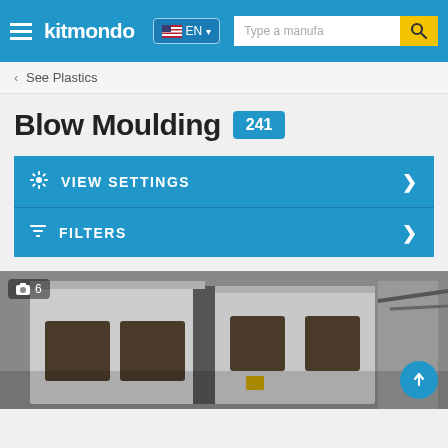kitmondo EN - Type a manufa [search]
< See Plastics
Blow Moulding 241
VIEW SETTINGS
FILTERS
[Figure (photo): Industrial blow moulding machine, grey/white cabinet with windows, photo count badge showing 6]